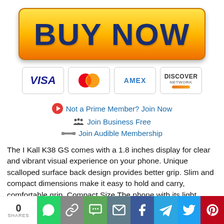[Figure (illustration): Yellow gradient BUY NOW button with dark blue bold text]
[Figure (illustration): Row of four payment card logos: VISA, MasterCard, AMEX, Discover]
Not a Prime Member? Join Now
Join Business Free
Join Audible Membership
The I Kall K38 GS comes with a 1.8 inches display for clear and vibrant visual experience on your phone. Unique scalloped surface back design provides better grip. Slim and compact dimensions make it easy to hold and carry, comfortable grip. Compact Size The phone with its light weight and compact size
[Figure (infographic): Social sharing bar with 0 SHARES count and icons for WhatsApp, Link, SMS, Email, Facebook, Telegram, Twitter, Pinterest]